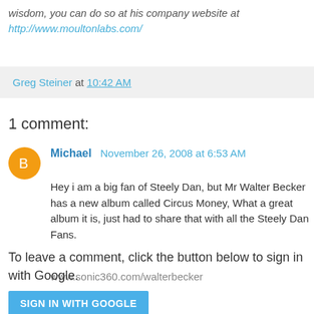wisdom, you can do so at his company website at http://www.moultonlabs.com/
Greg Steiner at 10:42 AM
1 comment:
Michael November 26, 2008 at 6:53 AM
Hey i am a big fan of Steely Dan, but Mr Walter Becker has a new album called Circus Money, What a great album it is, just had to share that with all the Steely Dan Fans.
www.sonic360.com/walterbecker
Reply
To leave a comment, click the button below to sign in with Google.
SIGN IN WITH GOOGLE